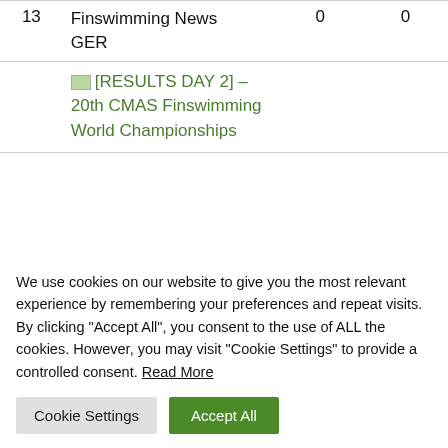|  | Title |  |  |
| --- | --- | --- | --- |
| 13 | Finswimming News
GER | 0 | 0 |
|  | [RESULTS DAY 2] – 20th CMAS Finswimming World Championships |  |  |
We use cookies on our website to give you the most relevant experience by remembering your preferences and repeat visits. By clicking "Accept All", you consent to the use of ALL the cookies. However, you may visit "Cookie Settings" to provide a controlled consent. Read More